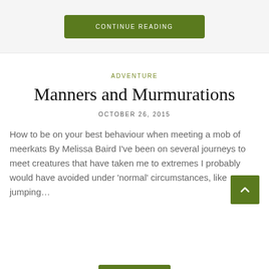CONTINUE READING
ADVENTURE
Manners and Murmurations
OCTOBER 26, 2015
How to be on your best behaviour when meeting a mob of meerkats By Melissa Baird I've been on several journeys to meet creatures that have taken me to extremes I probably would have avoided under 'normal' circumstances, like jumping…